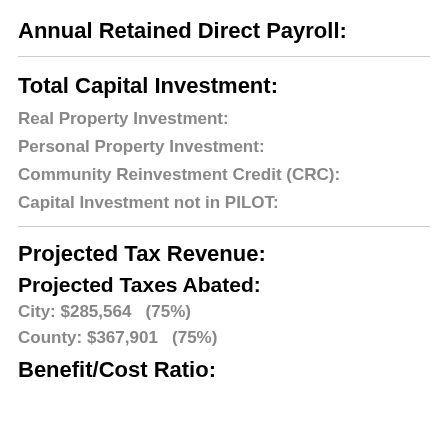Annual Retained Direct Payroll:
Total Capital Investment:
Real Property Investment:
Personal Property Investment:
Community Reinvestment Credit (CRC):
Capital Investment not in PILOT:
Projected Tax Revenue:
Projected Taxes Abated:
City: $285,564   (75%)
County: $367,901   (75%)
Benefit/Cost Ratio: